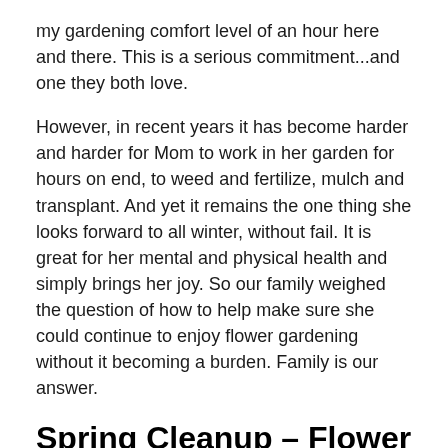my gardening comfort level of an hour here and there. This is a serious commitment...and one they both love.
However, in recent years it has become harder and harder for Mom to work in her garden for hours on end, to weed and fertilize, mulch and transplant. And yet it remains the one thing she looks forward to all winter, without fail.  It is great for her mental and physical health and simply brings her joy. So our family weighed the question of how to help make sure she could continue to enjoy flower gardening without it becoming a burden. Family is our answer.
Spring Cleanup – Flower Beds
This past weekend my sister and I planned a spring cleanup day with Mom – weeding, mulching, a little transplanting. Our thought was that if we got things under control early, it would allow for a summer of light maintenance for Mom, doing the things she loves, working a few hours here and there when the weather is right and when she feels like it, pulling errant weeds, preparing for fall